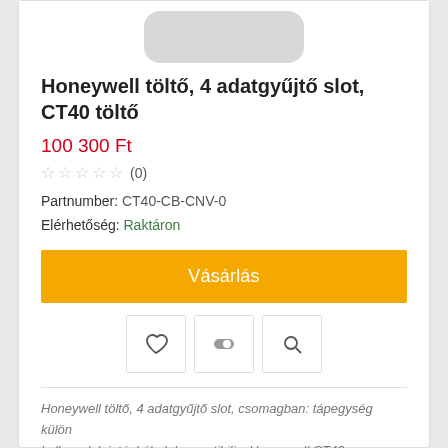[Figure (photo): Product image placeholder area for Honeywell charger]
Honeywell töltő, 4 adatgyűjtő slot, CT40 töltő
100 300 Ft
☆☆☆☆☆ (0)
Partnumber: CT40-CB-CNV-0
Elérhetőség: Raktáron
Vásárlás
[Figure (infographic): Row of three icon buttons: heart (wishlist), toggle/compare, magnifier (search)]
Honeywell töltő, 4 adatgyűjtő slot, csomagban: tápegység külön kell rendelni: tápkábel, kompatibilis: Honeywell CT40